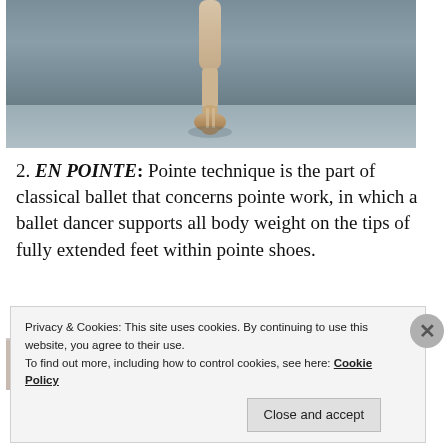[Figure (photo): Close-up photo of a ballet dancer's leg en pointe, wearing a beige pointe shoe, on a grey studio background.]
2. EN POINTE: Pointe technique is the part of classical ballet that concerns pointe work, in which a ballet dancer supports all body weight on the tips of fully extended feet within pointe shoes.
[Figure (photo): Partial view of another ballet-related photograph, partially obscured by the cookie consent banner.]
Privacy & Cookies: This site uses cookies. By continuing to use this website, you agree to their use.
To find out more, including how to control cookies, see here: Cookie Policy
Close and accept